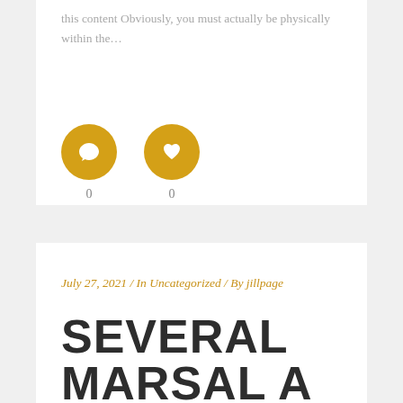this content Obviously, you must actually be physically within the...
[Figure (infographic): Two golden circular icon buttons: a comment/speech bubble icon and a heart/like icon, each with a count of 0 below them.]
July 27, 2021 / In Uncategorized / By jillpage
SEVERAL MARSAL A HOME WINE YO